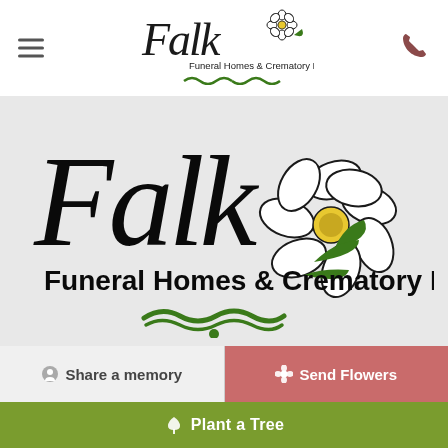[Figure (logo): Falk Funeral Homes & Crematory Inc. logo in header navigation bar — cursive Falk lettering with small flower, green infinity-style flourish]
[Figure (logo): Large Falk Funeral Homes & Crematory Inc. logo on light gray background — large cursive Falk with detailed white flower and green leaves, bold sans-serif subtitle, green infinity flourish below]
Share a memory
Send Flowers
Plant a Tree